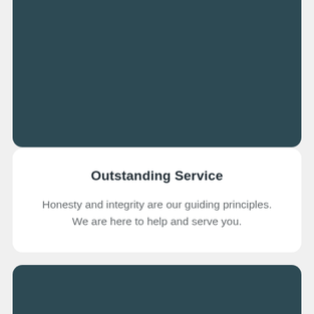[Figure (illustration): Top dark teal/slate card panel, cropped at top edges]
Outstanding Service
Honesty and integrity are our guiding principles. We are here to help and serve you.
[Figure (illustration): Bottom dark teal/slate card panel, cropped at bottom edges]